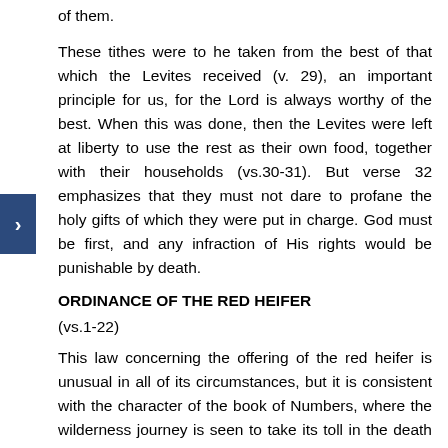of them.
These tithes were to he taken from the best of that which the Levites received (v. 29), an important principle for us, for the Lord is always worthy of the best. When this was done, then the Levites were left at liberty to use the rest as their own food, together with their households (vs.30-31). But verse 32 emphasizes that they must not dare to profane the holy gifts of which they were put in charge. God must be first, and any infraction of His rights would be punishable by death.
ORDINANCE OF THE RED HEIFER
(vs.1-22)
This law concerning the offering of the red heifer is unusual in all of its circumstances, but it is consistent with the character of the book of Numbers, where the wilderness journey is seen to take its toll in the death of many people. Any contact with dead body was contact with corruption. It is typical of moral corruption which is morally defiling to one who associates with it. There